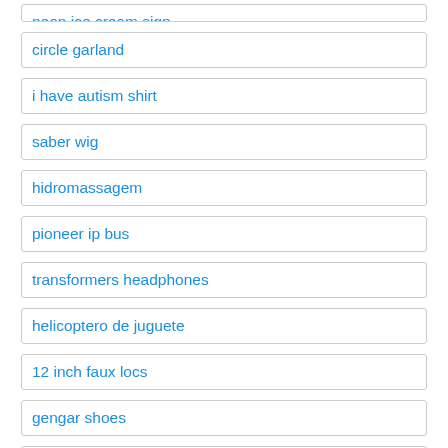neon ice cream sign
circle garland
i have autism shirt
saber wig
hidromassagem
pioneer ip bus
transformers headphones
helicoptero de juguete
12 inch faux locs
gengar shoes
baywatch one piece
rabbit bjd
bobill...